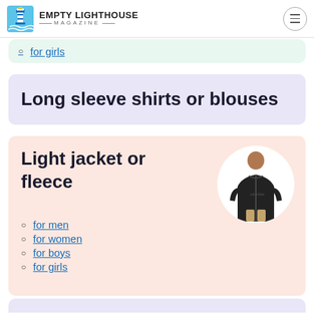EMPTY LIGHTHOUSE MAGAZINE
for girls
Long sleeve shirts or blouses
Light jacket or fleece
[Figure (photo): Person wearing a black zip-up fleece jacket, shown in a circular white-background image]
for men
for women
for boys
for girls